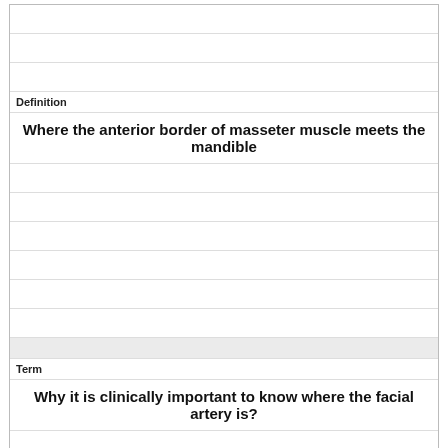| (empty) |
| (empty) |
| (empty) |
| Definition |
| Where the anterior border of masseter muscle meets the mandible |
| (empty) |
| (empty) |
| (empty) |
| (empty) |
| (empty) |
| (empty) |
| (shaded) |
| Term |
| Why it is clinically important to know where the facial artery is? |
| (empty) |
| (empty) |